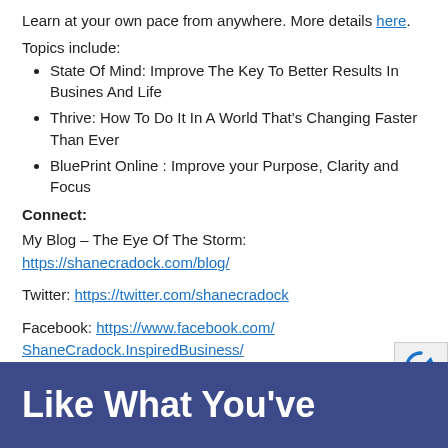Learn at your own pace from anywhere. More details here.
Topics include:
State Of Mind: Improve The Key To Better Results In Busines And Life
Thrive: How To Do It In A World That's Changing Faster Than Ever
BluePrint Online : Improve your Purpose, Clarity and Focus
Connect:
My Blog – The Eye Of The Storm: https://shanecradock.com/blog/
Twitter: https://twitter.com/shanecradock
Facebook: https://www.facebook.com/ShaneCradock.InspiredBusiness/
Linked In: https://www.linkedin.com/in/shanecradock/
Like What You've